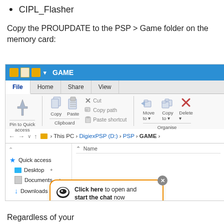CIPL_Flasher
Copy the PROUPDATE to the PSP > Game folder on the memory card:
[Figure (screenshot): Windows File Explorer screenshot showing GAME folder at path This PC > DigiexPSP (D:) > PSP > GAME, with a chat bubble overlay saying 'Click here to open and start the chat now' and a Chat (6) bar at the bottom.]
Regardless of your